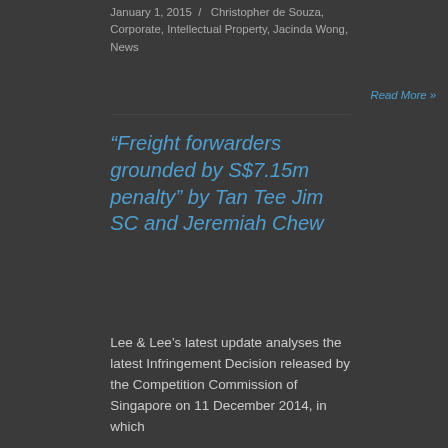January 1, 2015 / Christopher de Souza, Corporate, Intellectual Property, Jacinda Wong, News
Read More »
“Freight forwarders grounded by S$7.15m penalty” by Tan Tee Jim SC and Jeremiah Chew
Lee & Lee’s latest update analyses the latest Infringement Decision released by the Competition Commission of Singapore on 11 December 2014, in which...